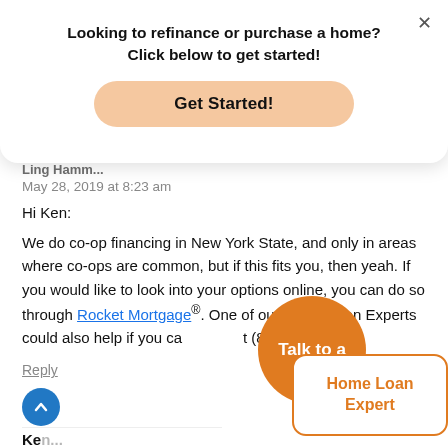Looking to refinance or purchase a home?
Click below to get started!
Get Started!
May 28, 2019 at 8:23 am
Hi Ken:
We do co-op financing in New York State, and only in areas where co-ops are common, but if this fits you, then yeah. If you would like to look into your options online, you can do so through Rocket Mortgage®. One of our Home Loan Experts could also help if you call (888) 980-6716.
Reply
[Figure (infographic): Orange speech bubble graphic with 'Talk to a' text in a circle and 'Home Loan Expert' in a rounded rectangle bubble]